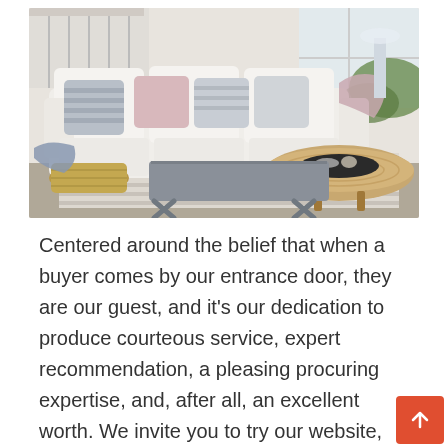[Figure (photo): A bright coastal-style living room with a white slipcovered sofa decorated with striped and pink throw pillows, a gray upholstered bench/ottoman, a round woven rattan coffee table, a striped area rug, a woven basket with a blue throw, and tropical plants in the background.]
Centered around the belief that when a buyer comes by our entrance door, they are our guest, and it's our dedication to produce courteous service, expert recommendation, a pleasing procuring expertise, and, after all, an excellent worth. We invite you to try our website, then are available to our shops and see why Lucas Furnishings & Mattress is the place to furnish your property. Firstly of each summer season, we're reminded that outdoors patio furniture is an funding. Nevertheless when these pieces must go up against